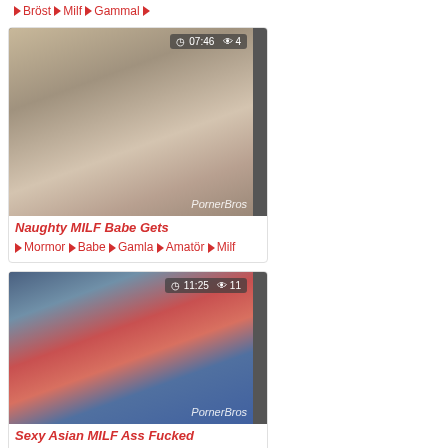Bröst ◆ Milf ◆ Gammal ◆
[Figure (photo): Video thumbnail showing a blonde woman, duration 07:46, views 4, watermark PornerBros]
Naughty MILF Babe Gets
Mormor ◆ Babe ◆ Gamla ◆ Amatör ◆ Milf
[Figure (photo): Video thumbnail showing a brunette woman in red near a pool, duration 11:25, views 11, watermark PornerBros]
Sexy Asian MILF Ass Fucked
Milf ◆ Anal ◆ Pool ◆ Stor